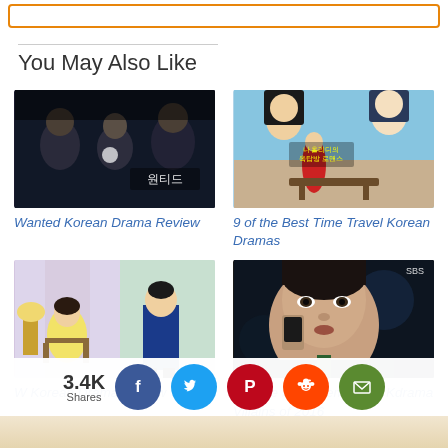You May Also Like
[Figure (photo): Promotional image for 'Wanted' Korean Drama showing three dramatic figures with a light effect and Korean text '원티드']
Wanted Korean Drama Review
[Figure (photo): Promotional image for time travel Korean dramas showing two actors peering over a surface with Korean text about rooftop romance, and a scene below]
9 of the Best Time Travel Korean Dramas
[Figure (photo): Promotional image for 'W' Korean Drama showing a female character in a yellow outfit seated in a chair and a male character in a blue suit standing]
W Korean Drama Review
[Figure (photo): Close-up of a Korean actor in a suit holding a phone to his ear, SBS logo visible in corner, dark atmospheric background]
8 of the Most Memorable Kdrama Villains of 2016
3.4K Shares